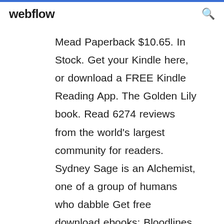webflow
Mead Paperback $10.65. In Stock. Get your Kindle here, or download a FREE Kindle Reading App. The Golden Lily book. Read 6274 reviews from the world's largest community for readers. Sydney Sage is an Alchemist, one of a group of humans who dabble Get free download ebooks: Bloodlines Series Ebook Free Download. Richelle Mead - Bloodlines Series (Bloodlines, The Golden Lily, The Indigo Spell) (The◆ The Golden Lily is a 2012 urban fantasy young adult novel by New York Times bestselling The Golden Lily (Mead novel). From Wikipedia, the free encyclopedia. Jump to navigation Jump to search◆ eBook; Unabridged Audiobook Download; Trade